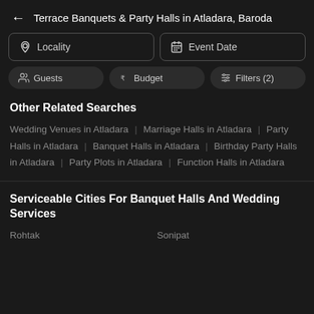Terrace Banquets & Party Halls in Atladara, Baroda
[Figure (screenshot): Locality input filter box with location pin icon]
[Figure (screenshot): Event Date input filter box with calendar icon]
[Figure (screenshot): Guests filter pill with people icon]
[Figure (screenshot): Budget filter pill with rupee icon]
[Figure (screenshot): Filters (2) pill with sliders icon]
Other Related Searches
Wedding Venues in Atladara | Marriage Halls in Atladara | Party Halls in Atladara | Banquet Halls in Atladara | Birthday Party Halls in Atladara | Party Plots in Atladara | Function Halls in Atladara
Serviceable Cities For Banquet Halls And Wedding Services
Rohtak
Sonipat